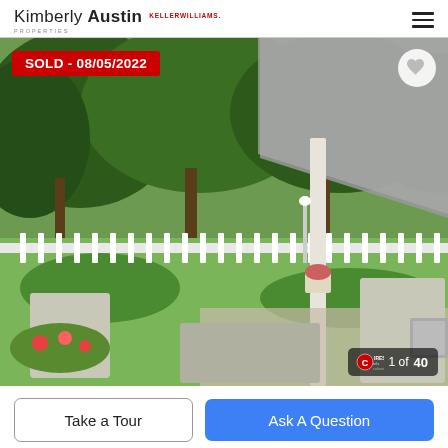Kimberly Austin Properties | Keller Williams
[Figure (photo): Covered patio with white Adirondack chairs and table, white picket fence, lush green garden and large trees in background. SOLD badge and IRES MLS logo overlay. 1 of 40 photo counter.]
SOLD - 08/05/2022
1 of 40
Take a Tour
Ask A Question